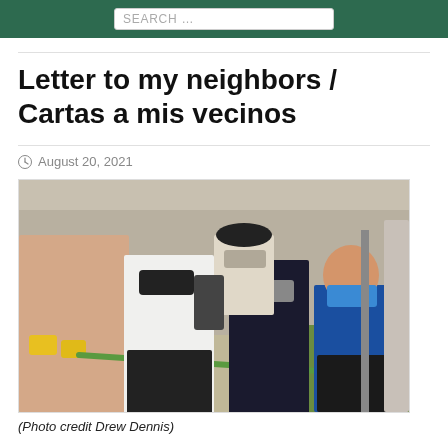SEARCH ...
Letter to my neighbors / Cartas a mis vecinos
August 20, 2021
[Figure (photo): Group of people wearing face masks doing an outdoor community cleanup, holding tools. A young child wearing a blue mask and red shirt is prominent in the foreground near a pole with plants. Adults include someone in a white tank top with yellow gloves.]
(Photo credit Drew Dennis)